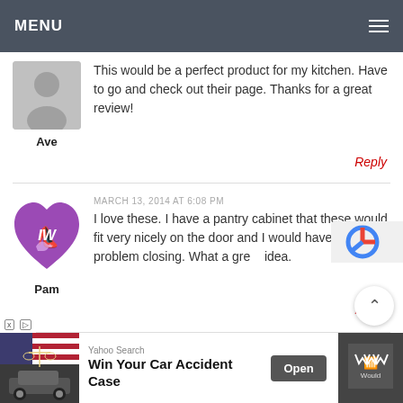MENU
This would be a perfect product for my kitchen. Have to go and check out their page. Thanks for a great review!
Ave
Reply
MARCH 13, 2014 AT 6:08 PM
I love these. I have a pantry cabinet that these would fit very nicely on the door and I would have no problem closing. What a great idea.
Pam
Reply
[Figure (infographic): Yahoo Search ad banner: Win Your Car Accident Case with Open button, American flag/scales of justice image on left, Wuuio logo on right]
[Figure (other): Partial reCAPTCHA widget visible at bottom right]